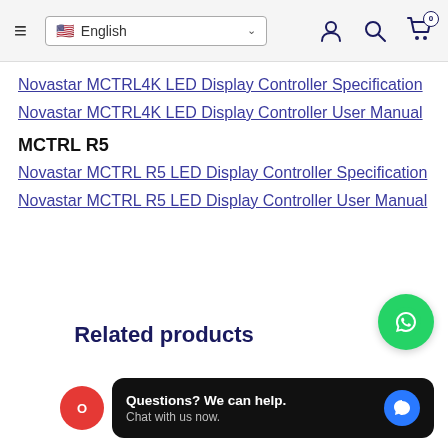English navigation bar with hamburger menu, language selector, user icon, search icon, cart (0)
Novastar MCTRL4K LED Display Controller Specification
Novastar MCTRL4K LED Display Controller User Manual
MCTRL R5
Novastar MCTRL R5 LED Display Controller Specification
Novastar MCTRL R5 LED Display Controller User Manual
Related products
[Figure (other): WhatsApp floating action button (green circle with phone icon)]
Questions? We can help. Chat with us now.